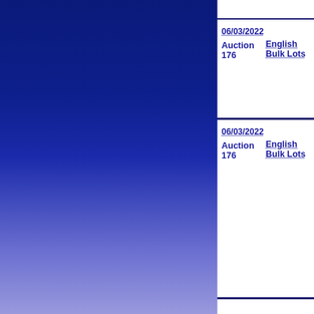[Figure (illustration): Left panel with dark blue to light purple gradient background]
06/03/2022
Auction
176
English
Bulk Lots
06/03/2022
Auction
176
English
Bulk Lots